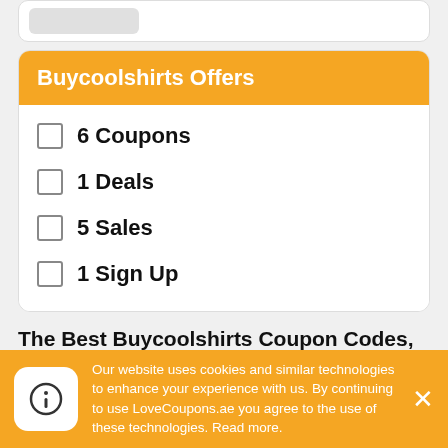Buycoolshirts Offers
6 Coupons
1 Deals
5 Sales
1 Sign Up
The Best Buycoolshirts Coupon Codes, Discount Codes, Promo Codes, Offers & Deals
Our website uses cookies and similar technologies to enhance your experience with us. By continuing to use LoveCoupons.ae you agree to the use of these technologies. Read more.